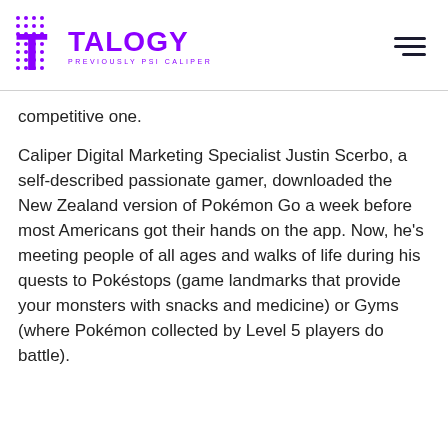TALOGY PREVIOUSLY PSI CALIPER
competitive one.
Caliper Digital Marketing Specialist Justin Scerbo, a self-described passionate gamer, downloaded the New Zealand version of Pokémon Go a week before most Americans got their hands on the app. Now, he's meeting people of all ages and walks of life during his quests to Pokéstops (game landmarks that provide your monsters with snacks and medicine) or Gyms (where Pokémon collected by Level 5 players do battle).